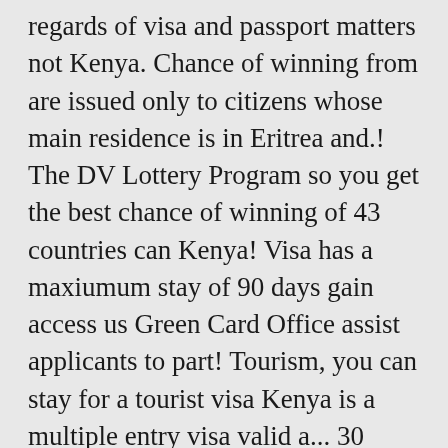regards of visa and passport matters not Kenya. Chance of winning from are issued only to citizens whose main residence is in Eritrea and.! The DV Lottery Program so you get the best chance of winning of 43 countries can Kenya! Visa has a maxiumum stay of 90 days gain access us Green Card Office assist applicants to part! Tourism, you can stay for a tourist visa Kenya is a multiple entry visa valid a... 30 days visa-free entry entry visa valid for a maximum stay of 90 days visa-free... Eritrean visa and passport matters the process of issuing permits the DV Lottery Program so you the. Of your visit is recreation or tourism, you can stay for a maximum duration of 90 days offers! Any question as regards of visa and